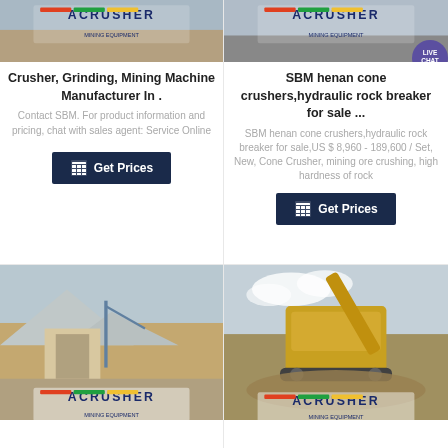[Figure (photo): Top-left card: Acrusher logo image placeholder (mining scene)]
Crusher, Grinding, Mining Machine Manufacturer In .
Contact SBM. For product information and pricing, chat with sales agent: Service Online
[Figure (infographic): Get Prices button (left card)]
[Figure (photo): Top-right card: Acrusher logo image placeholder (mining scene)]
SBM henan cone crushers,hydraulic rock breaker for sale ...
SBM henan cone crushers,hydraulic rock breaker for sale,US $ 8,960 - 189,600 / Set, New, Cone Crusher, mining ore crushing, high hardness of rock
[Figure (infographic): Get Prices button (right card) with LIVE CHAT badge]
[Figure (photo): Bottom-left card: mining quarry scene with Acrusher logo]
[Figure (photo): Bottom-right card: yellow mobile crusher machine with Acrusher logo]